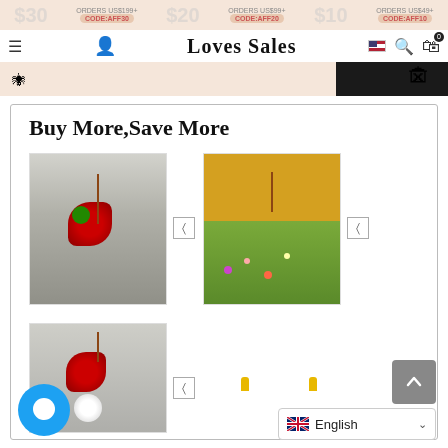Loves Sales — Navigation header with promo strip showing $30 off orders US$199+, $20 off orders US$99+, $10 off orders US$49+
[Figure (screenshot): Halloween promotional banner with spider and haunted house silhouette on dark background]
Buy More,Save More
[Figure (photo): Gray women's blouse with red floral print and necklace]
[Figure (photo): Yellow/green women's blouse with floral meadow print and necklace]
[Figure (photo): Gray women's blouse with red floral print (lower item), partially visible]
[Figure (screenshot): Chat support bubble icon (blue circle with speech bubble)]
[Figure (screenshot): Scroll-to-top button (gray square with up arrow)]
[Figure (screenshot): Language selector showing UK flag and 'English' with dropdown chevron]